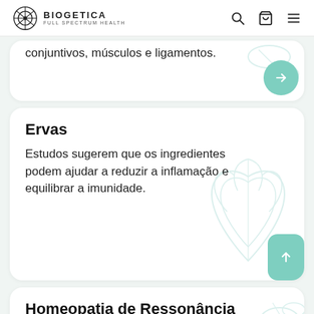BIOGETICA FULL SPECTRUM HEALTH
conjuntivos, músculos e ligamentos.
Ervas
Estudos sugerem que os ingredientes podem ajudar a reduzir a inflamação e equilibrar a imunidade.
Homeopatia de Ressonância